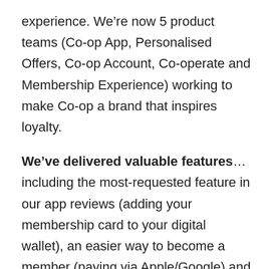experience. We're now 5 product teams (Co-op App, Personalised Offers, Co-op Account, Co-operate and Membership Experience) working to make Co-op a brand that inspires loyalty.
We've delivered valuable features… including the most-requested feature in our app reviews (adding your membership card to your digital wallet), an easier way to become a member (paying via Apple/Google) and ensuring Co-op Accounts are accessible to all (earning a zero issues report in testing).